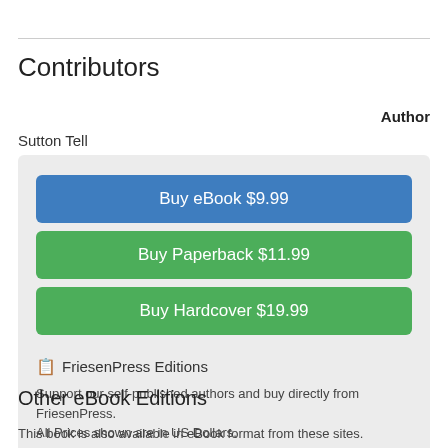Contributors
Author
Sutton Tell
Buy eBook $9.99
Buy Paperback $11.99
Buy Hardcover $19.99
🔖 FriesenPress Editions
Support our self-published authors and buy directly from FriesenPress. All Prices shown are in US Dollars.
Other eBook Editions
This book is also available in eBook format from these sites.